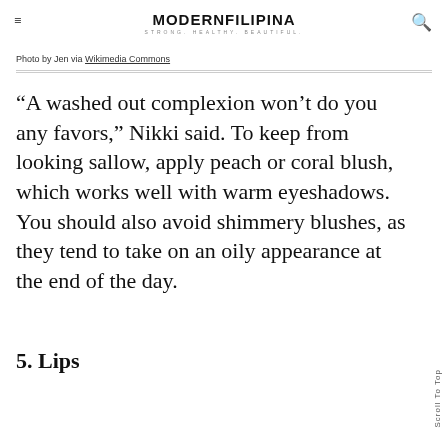MODERNFILIPINA STRONG. HEALTHY. BEAUTIFUL.
Photo by Jen via Wikimedia Commons
“A washed out complexion won’t do you any favors,” Nikki said. To keep from looking sallow, apply peach or coral blush, which works well with warm eyeshadows. You should also avoid shimmery blushes, as they tend to take on an oily appearance at the end of the day.
5. Lips